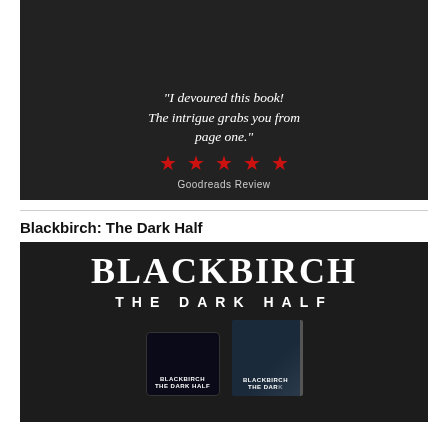[Figure (illustration): Dark promotional book image with a 5-star Goodreads review quote: 'I devoured this book! The intrigue grabs you from page one.' with five red stars and 'Goodreads Review' label on dark background, showing book covers by K.M. Allan]
Blackbirch: The Dark Half
[Figure (illustration): Dark promotional image for 'Blackbirch: The Dark Half' showing large white serif text 'BLACKBIRCH' and 'THE DARK HALF' on dark background, with book cover images (tablet and physical book) at the bottom]